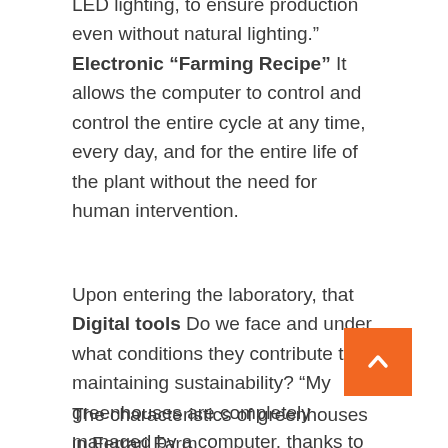LED lighting, to ensure production even without natural lighting." Electronic "Farming Recipe" It allows the computer to control and control the entire cycle at any time, every day, and for the entire life of the plant without the need for human intervention.
Upon entering the laboratory, that Digital tools Do we face and under what conditions they contribute to maintaining sustainability? "My greenhouses are completely managed by a computer, thanks to the creation of this e-farming recipe, which, at any moment and in the whole cycle of plants, realizes their ideal climate, manages watering and so on. Thanks to the details Automation systems"Greenhouses can be supervised remotely, and they are able to self-diag which reduces downtime and problem solving."
The characteristics of greenhouses in Ferrari Farm